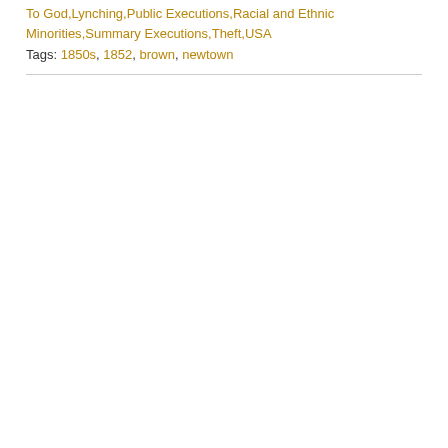To God,Lynching,Public Executions,Racial and Ethnic Minorities,Summary Executions,Theft,USA
Tags: 1850s, 1852, brown, newtown